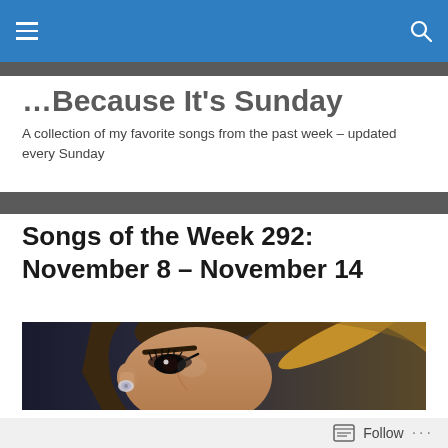Navigation bar with hamburger menu and search icon
…Because It's Sunday
A collection of my favorite songs from the past week – updated every Sunday
Songs of the Week 292: November 8 – November 14
[Figure (photo): Close-up photo of a woman (Ariana Grande) with a high ponytail, wearing an earpiece, against a dark background]
#5. Ariana Grande – My Hair
Follow ···